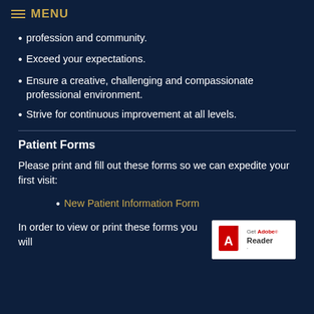MENU
profession and community.
Exceed your expectations.
Ensure a creative, challenging and compassionate professional environment.
Strive for continuous improvement at all levels.
Patient Forms
Please print and fill out these forms so we can expedite your first visit:
New Patient Information Form
In order to view or print these forms you will
[Figure (logo): Get Adobe Reader badge/logo]